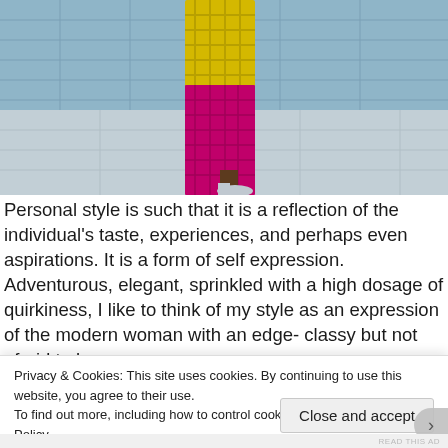[Figure (photo): A person walking wearing bright pink/magenta plaid wide-leg trousers, a yellow plaid coat, and silver heels, on a paved surface with glass building in background.]
Personal style is such that it is a reflection of the individual's taste, experiences, and perhaps even aspirations. It is a form of self expression. Adventurous, elegant, sprinkled with a high dosage of quirkiness, I like to think of my style as an expression of the modern woman with an edge- classy but not afraid to be quirky either. She works hard for the money and for the right...
Privacy & Cookies: This site uses cookies. By continuing to use this website, you agree to their use.
To find out more, including how to control cookies, see here: Cookie Policy
Close and accept